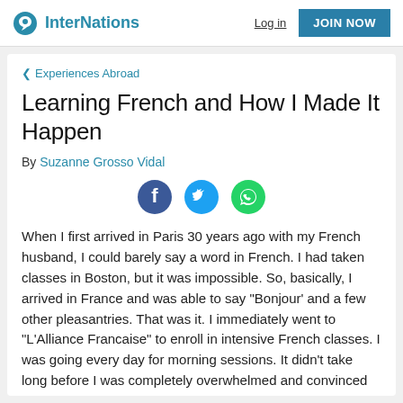InterNations | Log in | JOIN NOW
< Experiences Abroad
Learning French and How I Made It Happen
By Suzanne Grosso Vidal
[Figure (infographic): Three social sharing icons: Facebook (dark blue circle with white f), Twitter (light blue circle with white bird), WhatsApp (green circle with white phone handset)]
When I first arrived in Paris 30 years ago with my French husband, I could barely say a word in French. I had taken classes in Boston, but it was impossible. So, basically, I arrived in France and was able to say "Bonjour' and a few other pleasantries. That was it. I immediately went to "L'Alliance Francaise" to enroll in intensive French classes. I was going every day for morning sessions. It didn't take long before I was completely overwhelmed and convinced that I